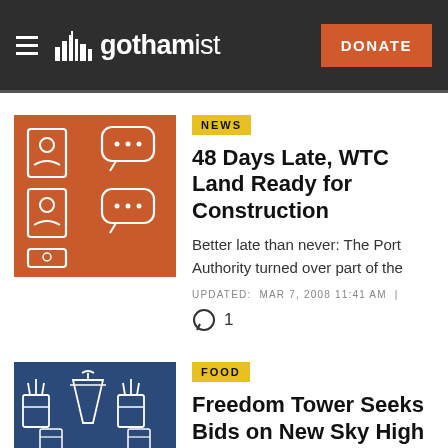gothamist — DONATE
[Figure (illustration): Orange background with white line-art icons: document with person, speech bubble with dots, repeated pattern]
NEWS
48 Days Late, WTC Land Ready for Construction
Better late than never: The Port Authority turned over part of the
UPDATED: MAR 7, 2008 11:41 AM | 1
[Figure (illustration): Dark blue background with white line-art icons of food items: fries, drinks, cups]
FOOD
Freedom Tower Seeks Bids on New Sky High Restaurant